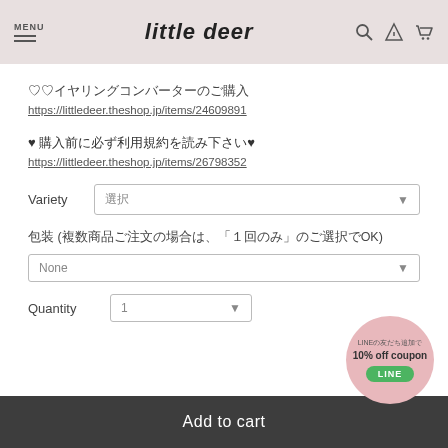MENU  little deer
♡♡イヤリングコンバーターのご購入
https://littledeer.theshop.jp/items/24609891
♥ 購入前に必ず利用規約を読み下さい♥
https://littledeer.theshop.jp/items/26798352
Variety  選択
包装 (複数商品ご注文の場合は、「１回のみ」のご選択でOK)
None
Quantity  1
Add to cart